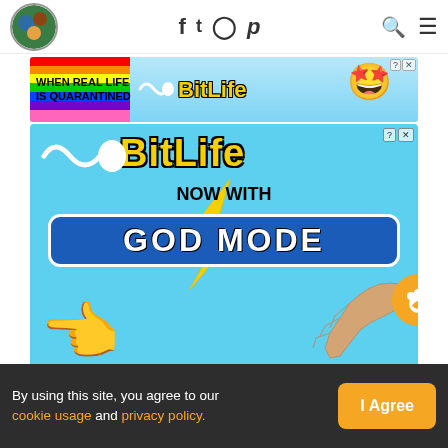Navigation bar with logo, social icons (f, twitter, instagram, pinterest), search and menu
[Figure (screenshot): BitLife ad banner top: rainbow background, 'WHEN REAL LIFE IS QUARANTINED' text, BitLife logo]
[Figure (screenshot): BitLife main advertisement: 'BitLife NOW WITH GOD MODE' on light blue background with sperm emoji, hands, lightning bolt graphics]
By using this site, you agree to our cookie usage and privacy policy.
I Agree